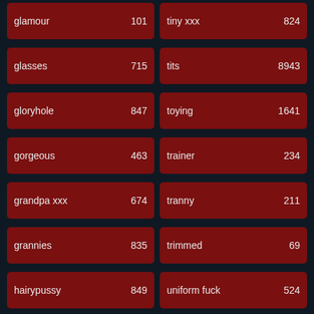glamour 101
tiny xxx 824
glasses 715
tits 8943
gloryhole 847
toying 1641
gorgeous 463
trainer 234
grandpa xxx 674
tranny 211
grannies 835
trimmed 69
hairypussy 849
uniform fuck 524
handjob 513
vaginas 245